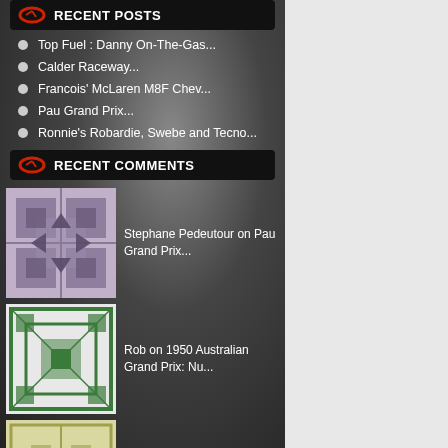RECENT POSTS
Top Fuel : Danny On-The-Gas...
Calder Raceway...
Francois' McLaren M8F Chev...
Pau Grand Prix...
Ronnie's Robardie, Swebe and Tecno...
RECENT COMMENTS
Stephane Pedeutour on Pau Grand Prix...
Rob on 1950 Australian Grand Prix: Nu...
bill HOLLINGSWORTH on Top Fuel : Danny On-The-Gas...
markbisset on Pau Grand Prix...
Stephane Pedeutour on Pau Grand Prix...
[Figure (photo): Blue metallic car surface with reflective highlights]
(MotorSport)
French Grand Prix ac
here over the July 23
His best results in the